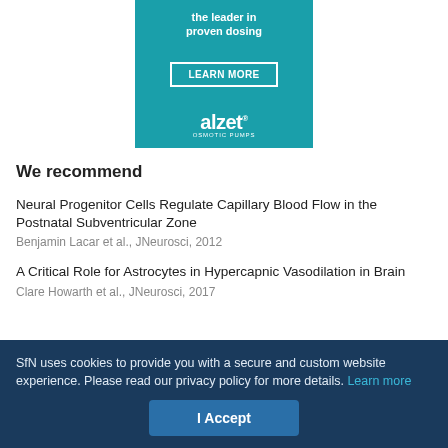[Figure (advertisement): Alzet osmotic pumps advertisement banner with teal background, showing 'the leader in proven dosing', a LEARN MORE button, and the alzet OSMOTIC PUMPS logo.]
We recommend
Neural Progenitor Cells Regulate Capillary Blood Flow in the Postnatal Subventricular Zone
Benjamin Lacar et al., JNeurosci, 2012
A Critical Role for Astrocytes in Hypercapnic Vasodilation in Brain
Clare Howarth et al., JNeurosci, 2017
SfN uses cookies to provide you with a secure and custom website experience. Please read our privacy policy for more details. Learn more
I Accept